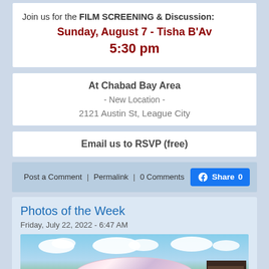Join us for the FILM SCREENING & Discussion:
Sunday, August 7 - Tisha B'Av
5:30 pm
At Chabad Bay Area
- New Location -
2121 Austin St, League City
Email us to RSVP (free)
Post a Comment | Permalink | 0 Comments  Share 0
Photos of the Week
Friday, July 22, 2022 - 6:47 AM
[Figure (photo): Outdoor party scene with a tent/canopy decorated with balloons, trees and a shed in the background under a blue sky with clouds.]